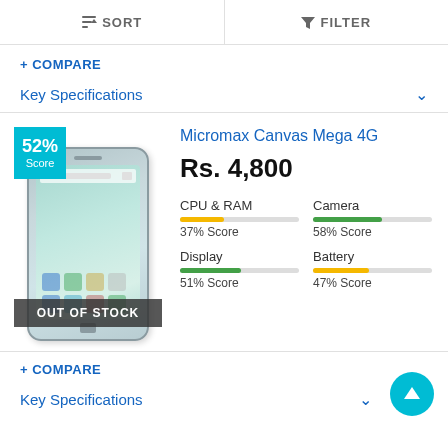SORT   FILTER
+ COMPARE
Key Specifications
[Figure (photo): Micromax Canvas Mega 4G smartphone product image with 52% Score badge and OUT OF STOCK overlay]
Micromax Canvas Mega 4G
Rs. 4,800
| Spec | Label | Score |
| --- | --- | --- |
| CPU & RAM | 37% Score | 37 |
| Camera | 58% Score | 58 |
| Display | 51% Score | 51 |
| Battery | 47% Score | 47 |
+ COMPARE
Key Specifications